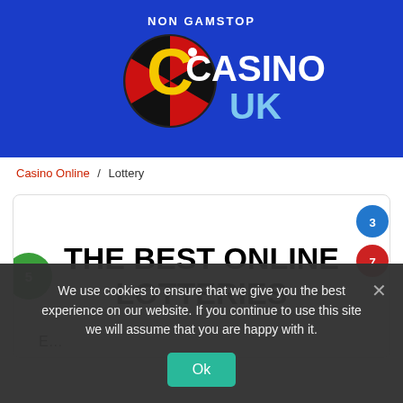[Figure (logo): Non Gamstop Casino UK logo — roulette wheel icon in red/black/yellow with white text 'NON GAMSTOP' above, 'CASINO' large, 'UK' below, on blue background]
Casino Online / Lottery
THE BEST ONLINE LOTTERIES
We use cookies to ensure that we give you the best experience on our website. If you continue to use this site we will assume that you are happy with it.
Ok